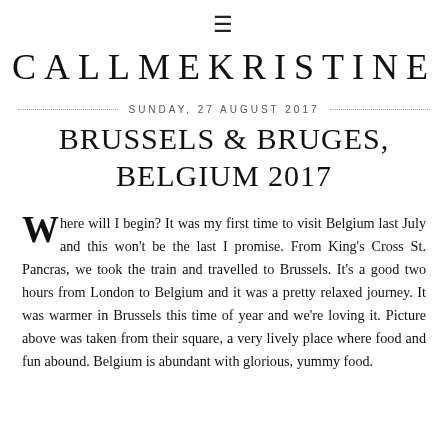≡
CALLMEKRISTINE
SUNDAY, 27 AUGUST 2017
BRUSSELS & BRUGES, BELGIUM 2017
Where will I begin? It was my first time to visit Belgium last July and this won't be the last I promise. From King's Cross St. Pancras, we took the train and travelled to Brussels. It's a good two hours from London to Belgium and it was a pretty relaxed journey. It was warmer in Brussels this time of year and we're loving it. Picture above was taken from their square, a very lively place where food and fun abound. Belgium is abundant with glorious, yummy food.